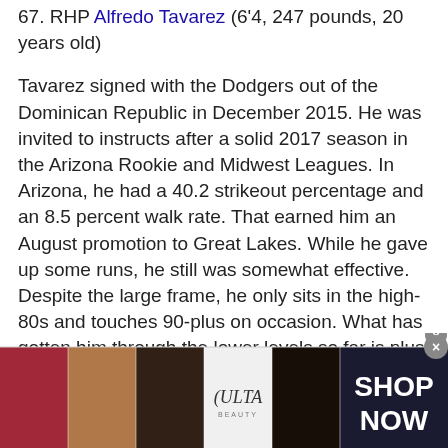67. RHP Alfredo Tavarez (6'4, 247 pounds, 20 years old)
Tavarez signed with the Dodgers out of the Dominican Republic in December 2015. He was invited to instructs after a solid 2017 season in the Arizona Rookie and Midwest Leagues. In Arizona, he had a 40.2 strikeout percentage and an 8.5 percent walk rate. That earned him an August promotion to Great Lakes. While he gave up some runs, he still was somewhat effective. Despite the large frame, he only sits in the high-80s and touches 90-plus on occasion. What has gotten him through the lower levels so far is plus breaking ball. It's more of a slider than a curveball, but it has slurve-like tendencies. As he goes up the minor-league ladder, he'll have to be pinpoint with his command (which isn't great at present) or add some velocity.
[Figure (photo): Advertisement banner showing makeup/beauty images and Ulta Beauty logo with SHOP NOW call to action]